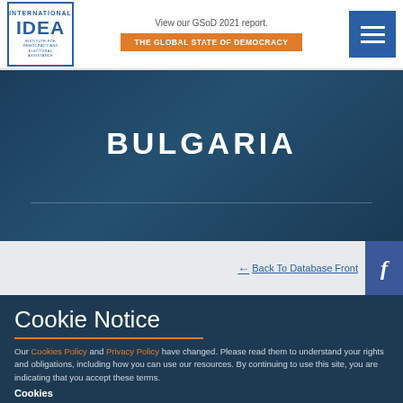[Figure (logo): International IDEA logo — blue bordered box with IDEA text and full name]
View our GSoD 2021 report.
THE GLOBAL STATE OF DEMOCRACY
[Figure (illustration): Hamburger menu icon — three horizontal white lines on blue square]
BULGARIA
← Back To Database Front
[Figure (logo): Facebook share button — white f on blue square]
Cookie Notice
Our Cookies Policy and Privacy Policy have changed. Please read them to understand your rights and obligations, including how you can use our resources. By continuing to use this site, you are indicating that you accept these terms.
Cookies